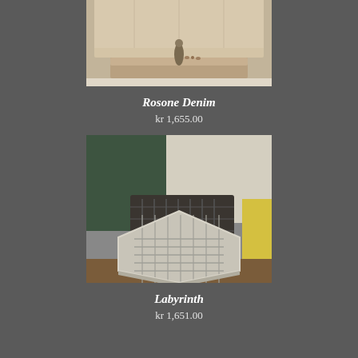[Figure (photo): Photo of a bedroom scene with a headboard, decorative cushions, and a small tray with objects on a neutral-toned surface. The Rosone Denim rug/carpet product is shown in an interior setting.]
Rosone Denim
kr 1,655.00
[Figure (photo): Photo of hexagonal carpet/rug tile samples stacked and arranged, showing geometric labyrinth pattern in grey/charcoal tones against green and yellow backgrounds.]
Labyrinth
kr 1,651.00